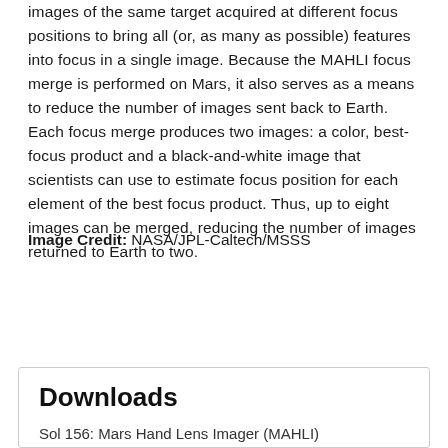images of the same target acquired at different focus positions to bring all (or, as many as possible) features into focus in a single image. Because the MAHLI focus merge is performed on Mars, it also serves as a means to reduce the number of images sent back to Earth. Each focus merge produces two images: a color, best-focus product and a black-and-white image that scientists can use to estimate focus position for each element of the best focus product. Thus, up to eight images can be merged, reducing the number of images returned to Earth to two.
Image Credit: NASA/JPL-Caltech/MSSS
ENLARGE
Downloads
Sol 156: Mars Hand Lens Imager (MAHLI)